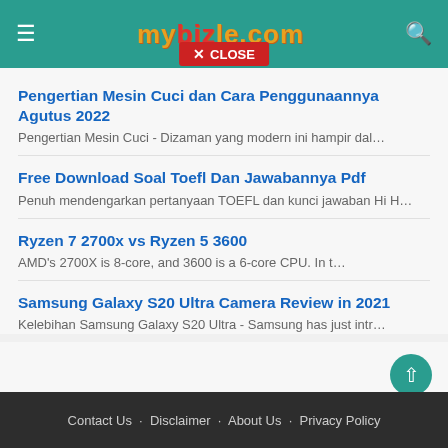mybizle.com
Pengertian Mesin Cuci dan Cara Penggunaannya Agutus 2022
Pengertian Mesin Cuci - Dizaman yang modern ini hampir dal…
Free Download Soal Toefl Dan Jawabannya Pdf
Penuh mendengarkan pertanyaan TOEFL dan kunci jawaban Hi H…
Ryzen 7 2700x vs Ryzen 5 3600
AMD's 2700X is 8-core, and 3600 is a 6-core CPU. In t…
Samsung Galaxy S20 Ultra Camera Review in 2021
Kelebihan Samsung Galaxy S20 Ultra - Samsung has just intr…
Contact Us · Disclaimer · About Us · Privacy Policy